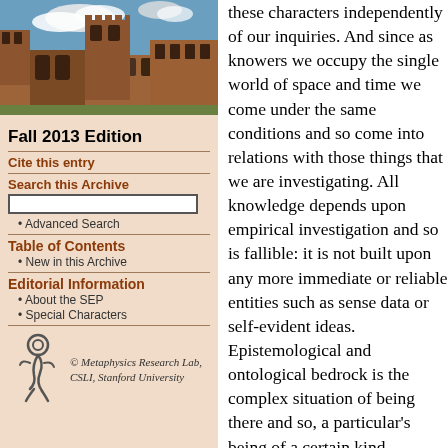[Figure (photo): Photo of a historic stone university building with Gothic architecture and a blue sky with clouds]
Fall 2013 Edition
Cite this entry
Search this Archive
Advanced Search
Table of Contents
New in this Archive
Editorial Information
About the SEP
Special Characters
[Figure (logo): Metaphysics Research Lab logo with stylized figure]
© Metaphysics Research Lab, CSLI, Stanford University
these characters independently of our inquiries. And since as knowers we occupy the single world of space and time we come under the same conditions and so come into relations with those things that we are investigating. All knowledge depends upon empirical investigation and so is fallible: it is not built upon any more immediate or reliable entities such as sense data or self-evident ideas. Epistemological and ontological bedrock is the complex situation of being there and so, a particular's being of a certain kind. Knowing minds are themselves complex spatio-temporal things, societies of